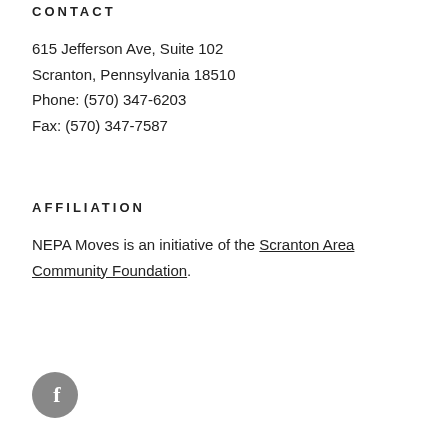CONTACT
615 Jefferson Ave, Suite 102
Scranton, Pennsylvania 18510
Phone: (570) 347-6203
Fax: (570) 347-7587
AFFILIATION
NEPA Moves is an initiative of the Scranton Area Community Foundation.
[Figure (logo): Facebook icon — grey circle with white 'f' letter]